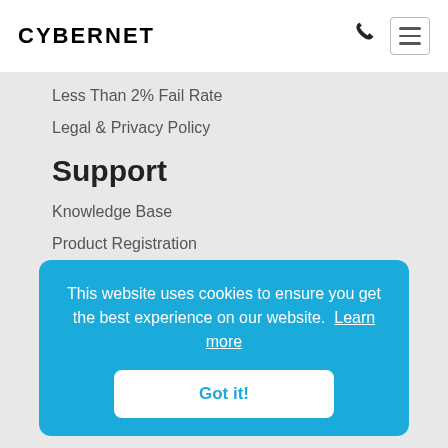CYBERNET
Less Than 2% Fail Rate
Legal & Privacy Policy
Support
Knowledge Base
Product Registration
Support Request
Warranty Terms
This website uses cookies to ensure you get the best experience on our website. Learn more
Got it!